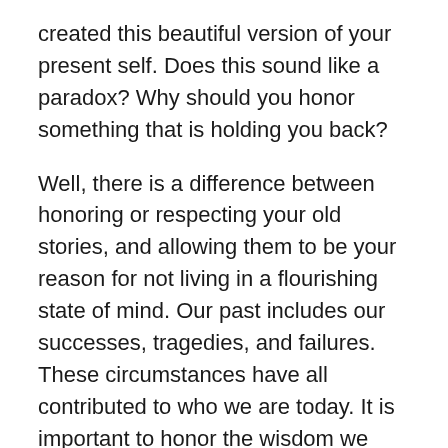created this beautiful version of your present self. Does this sound like a paradox? Why should you honor something that is holding you back?
Well, there is a difference between honoring or respecting your old stories, and allowing them to be your reason for not living in a flourishing state of mind. Our past includes our successes, tragedies, and failures. These circumstances have all contributed to who we are today. It is important to honor the wisdom we may have gained from living our life.
Once we pay respect to our past and the lessons taught, we are ready and brave